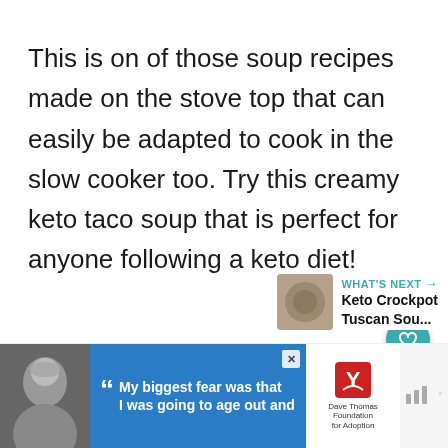This is on of those soup recipes made on the stove top that can easily be adapted to cook in the slow cooker too. Try this creamy keto taco soup that is perfect for anyone following a keto diet!
[Figure (other): Teal circular favorite/heart button]
[Figure (other): White circular share button]
[Figure (other): What's Next card linking to Keto Crockpot Tuscan Sou... with food thumbnail]
[Figure (other): Advertisement banner: Dave Thomas Foundation for Adoption. My biggest fear was that I was going to age out and]